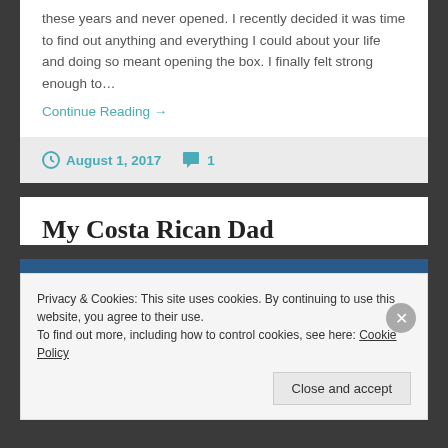these years and never opened. I recently decided it was time to find out anything and everything I could about your life and doing so meant opening the box. I finally felt strong enough to…
Continue Reading →
August 1, 2017   1
My Costa Rican Dad
Privacy & Cookies: This site uses cookies. By continuing to use this website, you agree to their use.
To find out more, including how to control cookies, see here: Cookie Policy
Close and accept